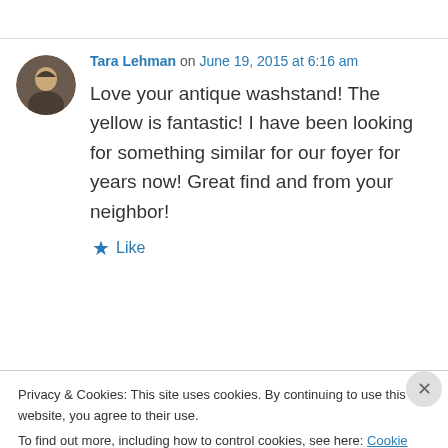Tara Lehman on June 19, 2015 at 6:16 am
Love your antique washstand! The yellow is fantastic! I have been looking for something similar for our foyer for years now! Great find and from your neighbor!
★ Like
Privacy & Cookies: This site uses cookies. By continuing to use this website, you agree to their use.
To find out more, including how to control cookies, see here: Cookie Policy
Close and accept